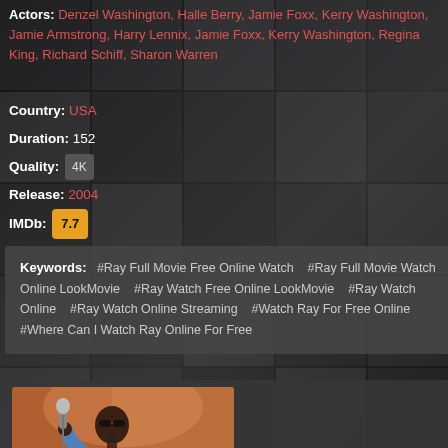Actors: Denzel Washington, Halle Berry, Jamie Foxx, Kerry Washington, Jamie Armstrong, Harry Lennix, Jamie Foxx, Kerry Washington, Regina King, Richard Schiff, Sharon Warren
Country: USA
Duration: 152
Quality: 4K
Release: 2004
IMDb: 7.7
Keywords: #Ray Full Movie Free Online Watch  #Ray Full Movie Watch Online LookMovie  #Ray Watch Free Online LookMovie  #Ray Watch Online  #Ray Watch Online Streaming  #Watch Ray For Free Online  #Where Can I Watch Ray Online For Free
[Figure (photo): A man in a blue suit with sunglasses singing into a microphone, performing on stage with an orange/red background]